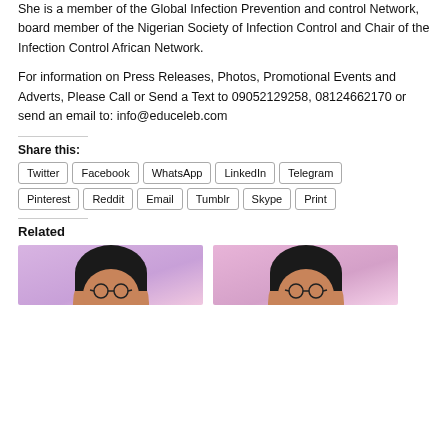She is a member of the Global Infection Prevention and control Network, board member of the Nigerian Society of Infection Control and Chair of the Infection Control African Network.
For information on Press Releases, Photos, Promotional Events and Adverts, Please Call or Send a Text to 09052129258, 08124662170 or send an email to: info@educeleb.com
Share this:
Twitter
Facebook
WhatsApp
LinkedIn
Telegram
Pinterest
Reddit
Email
Tumblr
Skype
Print
Related
[Figure (photo): Two related article thumbnail photos of a woman with glasses, pink/purple background.]